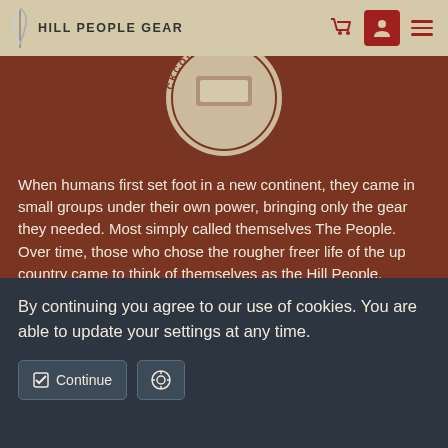Hill People Gear
[Figure (logo): Circular backcountry trail badge/logo partially visible at top center]
When humans first set foot in a new continent, they came in small groups under their own power, bringing only the gear they needed. Most simply called themselves The People. Over time, those who chose the rougher freer life of the up country came to think of themselves as the Hill People.
We believe in personal liberty. We believe in the armed individual as the fundamental unit of personal liberty and human dignity. You can read more about that here. We also believe that personal liberty is very dependent on who you are taking your paycheck from. That's why our suppliers are family owned American businesses that use American materials and employ other Americans. You can
By continuing you agree to our use of cookies. You are able to update your settings at any time.